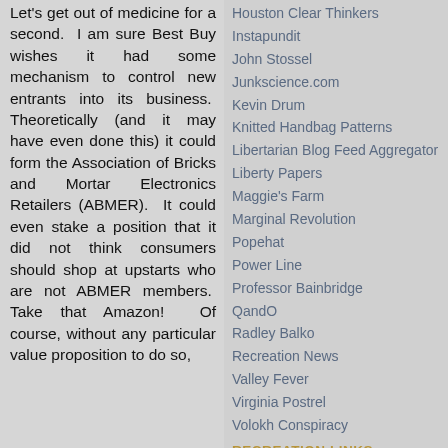Let's get out of medicine for a second. I am sure Best Buy wishes it had some mechanism to control new entrants into its business. Theoretically (and it may have even done this) it could form the Association of Bricks and Mortar Electronics Retailers (ABMER). It could even stake a position that it did not think consumers should shop at upstarts who are not ABMER members. Take that Amazon! Of course, without any particular value proposition to do so,
Houston Clear Thinkers
Instapundit
John Stossel
Junkscience.com
Kevin Drum
Knitted Handbag Patterns
Libertarian Blog Feed Aggregator
Liberty Papers
Maggie's Farm
Marginal Revolution
Popehat
Power Line
Professor Bainbridge
QandO
Radley Balko
Recreation News
Valley Fever
Virginia Postrel
Volokh Conspiracy
RECREATION LINKS